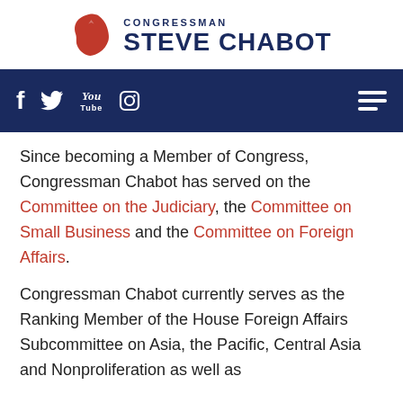[Figure (logo): Congressman Steve Chabot logo with Ohio state silhouette in red and navy text]
[Figure (screenshot): Navigation bar with dark navy background showing social media icons (Facebook, Twitter, YouTube, Instagram) and a hamburger menu icon]
Since becoming a Member of Congress, Congressman Chabot has served on the Committee on the Judiciary, the Committee on Small Business and the Committee on Foreign Affairs.
Congressman Chabot currently serves as the Ranking Member of the House Foreign Affairs Subcommittee on Asia, the Pacific, Central Asia and Nonproliferation as well as